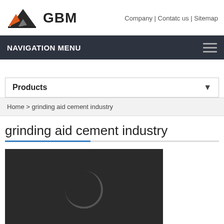[Figure (logo): GBM company logo with mountain/triangle graphic in orange, gray, and black colors, followed by bold text GBM]
Company | Contatc us | Sitemap
NAVIGATION MENU
Products ▼
Home > grinding aid cement industry
grinding aid cement industry
[Figure (screenshot): Video player with dark background, loading spinner, and controls showing play button, 0:00 timestamp, volume icon, fullscreen icon, and more options icon]